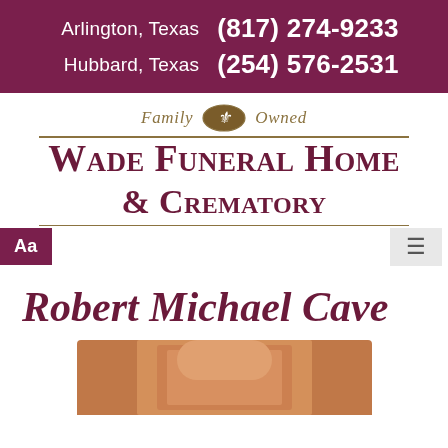Arlington, Texas  (817) 274-9233
Hubbard, Texas  (254) 576-2531
[Figure (logo): Wade Funeral Home & Crematory logo with 'Family Owned' tagline and fleur-de-lis emblem, gold and dark maroon color scheme]
Robert Michael Cave
[Figure (photo): Partial photo showing the top of a person's head with reddish-blonde hair]